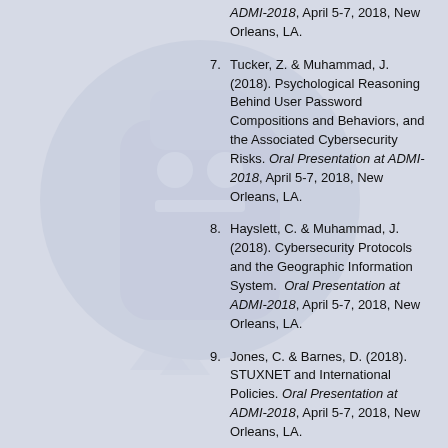ADMI-2018, April 5-7, 2018, New Orleans, LA.
7. Tucker, Z. & Muhammad, J. (2018). Psychological Reasoning Behind User Password Compositions and Behaviors, and the Associated Cybersecurity Risks. Oral Presentation at ADMI-2018, April 5-7, 2018, New Orleans, LA.
8. Hayslett, C. & Muhammad, J. (2018). Cybersecurity Protocols and the Geographic Information System. Oral Presentation at ADMI-2018, April 5-7, 2018, New Orleans, LA.
9. Jones, C. & Barnes, D. (2018). STUXNET and International Policies. Oral Presentation at ADMI-2018, April 5-7, 2018, New Orleans, LA.
2017
1. Scott, C., Wynne, D., & Boonthum-